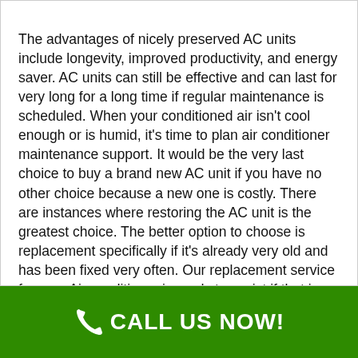The advantages of nicely preserved AC units include longevity, improved productivity, and energy saver. AC units can still be effective and can last for very long for a long time if regular maintenance is scheduled. When your conditioned air isn't cool enough or is humid, it's time to plan air conditioner maintenance support. It would be the very last choice to buy a brand new AC unit if you have no other choice because a new one is costly. There are instances where restoring the AC unit is the greatest choice. The better option to choose is replacement specifically if it's already very old and has been fixed very often. Our replacement service for your Air conditioner is ready to assist if that is the situation. Steer clear of the high temperature of this summer by making sure your air conditioning units are effectively working. When your air conditioner demands assistance or maintenance you can count on the HVAC professionals at Air Condition Bros of Pine Plains.
CALL US NOW!